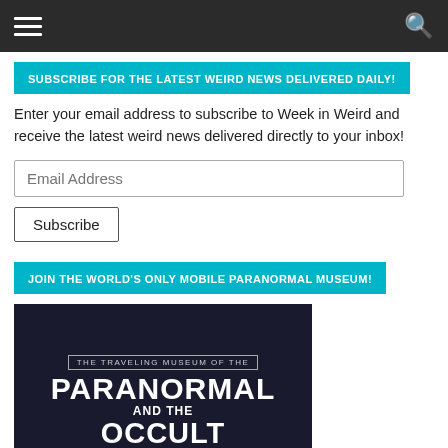Navigation bar with hamburger menu and search icon
SUBSCRIBE FOR THE LATEST WEIRD NEWS DELIVERED DAILY!
Enter your email address to subscribe to Week in Weird and receive the latest weird news delivered directly to your inbox!
Email Address
Subscribe
JOIN THE WORLD'S ONLY MOBILE PARANORMAL MUSEUM!
[Figure (illustration): Promotional image for The Traveling Museum of the Paranormal and the Occult - Become a Member, showing large white text on dark background with a person's face and orange circle at bottom]